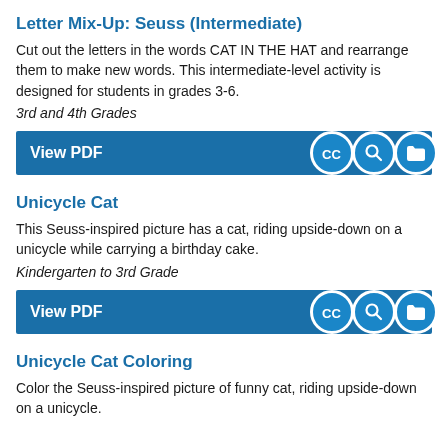Letter Mix-Up: Seuss (Intermediate)
Cut out the letters in the words CAT IN THE HAT and rearrange them to make new words. This intermediate-level activity is designed for students in grades 3-6.
3rd and 4th Grades
View PDF
Unicycle Cat
This Seuss-inspired picture has a cat, riding upside-down on a unicycle while carrying a birthday cake.
Kindergarten to 3rd Grade
View PDF
Unicycle Cat Coloring
Color the Seuss-inspired picture of funny cat, riding upside-down on a unicycle.